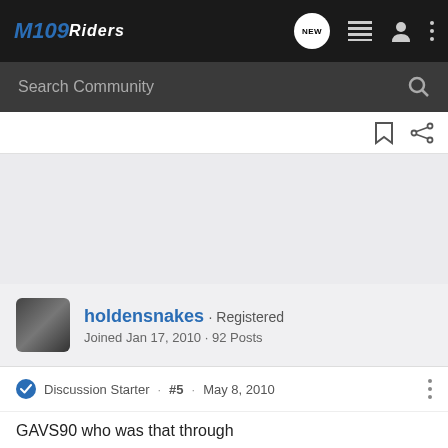M109Riders
Search Community
holdensnakes · Registered
Joined Jan 17, 2010 · 92 Posts
Discussion Starter · #5 · May 8, 2010
GAVS90 who was that through
[Figure (photo): Advertisement banner: THE NEW 2022 SILVERADO. Explore. Chevrolet truck photo with Chevrolet logo.]